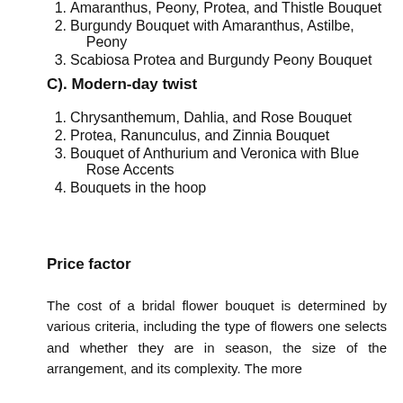1. Amaranthus, Peony, Protea, and Thistle Bouquet
2. Burgundy Bouquet with Amaranthus, Astilbe, Peony
3. Scabiosa Protea and Burgundy Peony Bouquet
C). Modern-day twist
1. Chrysanthemum, Dahlia, and Rose Bouquet
2. Protea, Ranunculus, and Zinnia Bouquet
3. Bouquet of Anthurium and Veronica with Blue Rose Accents
4. Bouquets in the hoop
Price factor
The cost of a bridal flower bouquet is determined by various criteria, including the type of flowers one selects and whether they are in season, the size of the arrangement, and its complexity. The more